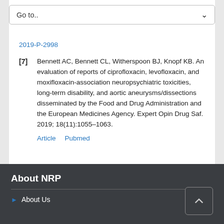Go to..
2019-P-2998
[7] Bennett AC, Bennett CL, Witherspoon BJ, Knopf KB. An evaluation of reports of ciprofloxacin, levofloxacin, and moxifloxacin-association neuropsychiatric toxicities, long-term disability, and aortic aneurysms/dissections disseminated by the Food and Drug Administration and the European Medicines Agency. Expert Opin Drug Saf. 2019; 18(11):1055–1063.
Article    Pubmed
About NRP
About Us